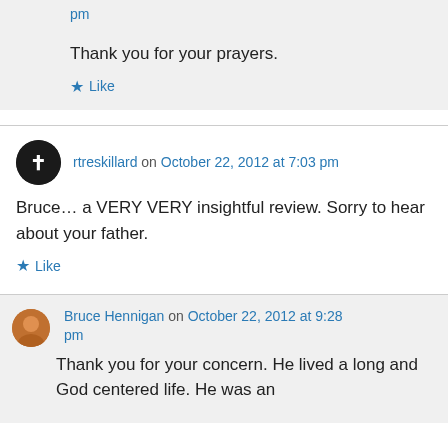pm
Thank you for your prayers.
Like
rtreskillard on October 22, 2012 at 7:03 pm
Bruce… a VERY VERY insightful review. Sorry to hear about your father.
Like
Bruce Hennigan on October 22, 2012 at 9:28 pm
Thank you for your concern. He lived a long and God centered life. He was an